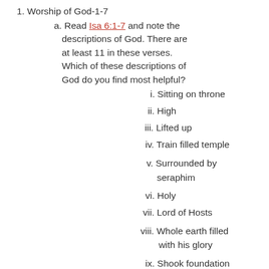1. Worship of God-1-7
a. Read Isa 6:1-7 and note the descriptions of God. There are at least 11 in these verses. Which of these descriptions of God do you find most helpful?
i. Sitting on throne
ii. High
iii. Lifted up
iv. Train filled temple
v. Surrounded by seraphim
vi. Holy
vii. Lord of Hosts
viii. Whole earth filled with his glory
ix. Shook foundation